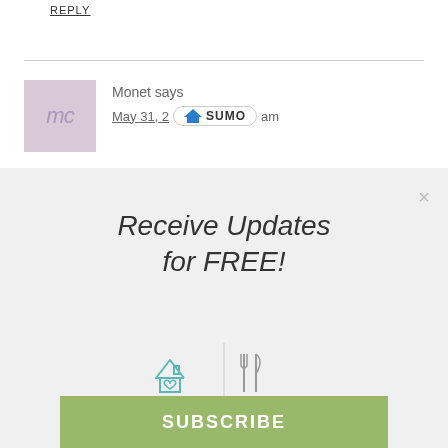REPLY
Monet says
May 31, 2 ... am
[Figure (logo): SUMO badge with crown icon]
[Figure (infographic): Receive Updates for FREE! popup with icons: house with heart, fork and knife, dumbbell, apple, and a green SUBSCRIBE button]
Receive Updates for FREE!
SUBSCRIBE